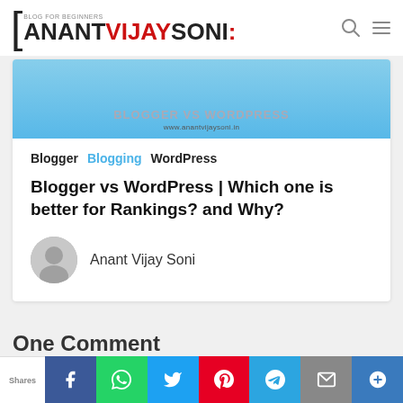[ANANT VIJAY SONI:
[Figure (screenshot): Blog post hero image with light blue background showing the blog title and URL www.anantvijaysoni.in]
Blogger  Blogging  WordPress
Blogger vs WordPress | Which one is better for Rankings? and Why?
Anant Vijay Soni
One Comment
Shares | Facebook | WhatsApp | Twitter | Pinterest | Telegram | Email | Mail